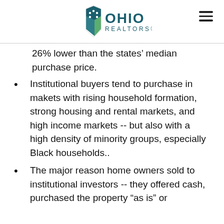Ohio Realtors
26% lower than the states' median purchase price.
Institutional buyers tend to purchase in makets with rising household formation, strong housing and rental markets, and high income markets -- but also with a high density of minority groups, especially Black households..
The major reason home owners sold to institutional investors -- they offered cash, purchased the property “as is” or